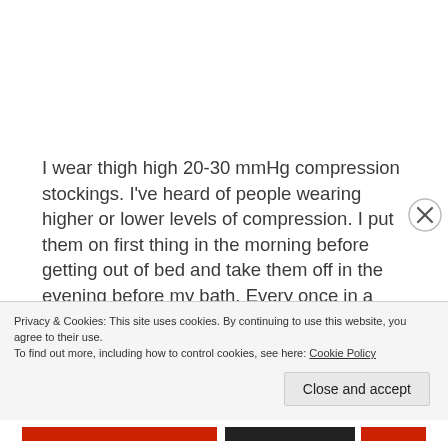I wear thigh high 20-30 mmHg compression stockings. I've heard of people wearing higher or lower levels of compression. I put them on first thing in the morning before getting out of bed and take them off in the evening before my bath. Every once in a while, I take them off early for a treat, but only if I know I will be laying flat
Privacy & Cookies: This site uses cookies. By continuing to use this website, you agree to their use.
To find out more, including how to control cookies, see here: Cookie Policy